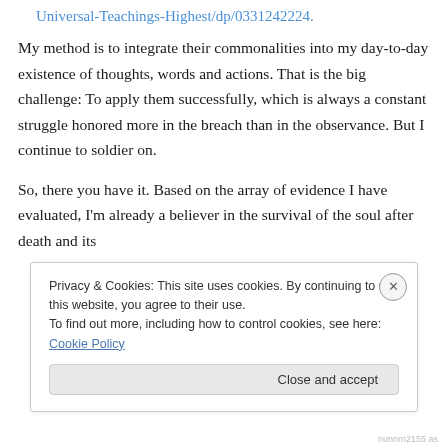Universal-Teachings-Highest/dp/0331242224.
My method is to integrate their commonalities into my day-to-day existence of thoughts, words and actions. That is the big challenge: To apply them successfully, which is always a constant struggle honored more in the breach than in the observance. But I continue to soldier on.
So, there you have it. Based on the array of evidence I have evaluated, I'm already a believer in the survival of the soul after death and its
Privacy & Cookies: This site uses cookies. By continuing to use this website, you agree to their use.
To find out more, including how to control cookies, see here: Cookie Policy
Close and accept